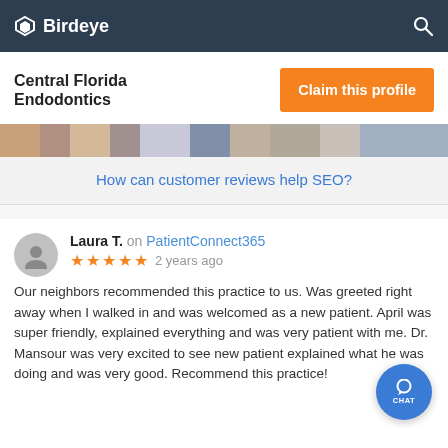Birdeye
Central Florida Endodontics
[Figure (screenshot): Claim this profile orange button]
[Figure (photo): Partial cropped photo of people, image strip]
How can customer reviews help SEO?
Laura T. on PatientConnect365
★★★★★ 2 years ago
Our neighbors recommended this practice to us. Was greeted right away when I walked in and was welcomed as a new patient. April was super friendly, explained everything and was very patient with me. Dr. Mansour was very excited to see new patient explained what he was doing and was very good. Recommend this practice!